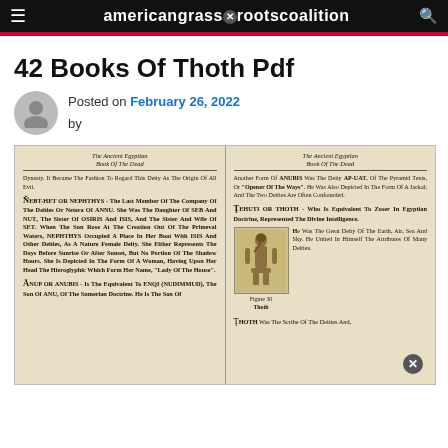americangrassrootscoalition
42 Books Of Thoth Pdf
Posted on February 26, 2022 by
[Figure (photo): Scanned pages from The Ancient Egyptian Book Of The Dead showing entries for Nebt-Het or Nephthys, Anup or Anubis, Tehuti or Thoth, with a figure illustration labeled Figure 30 Thoth]
Figure 30 Thoth